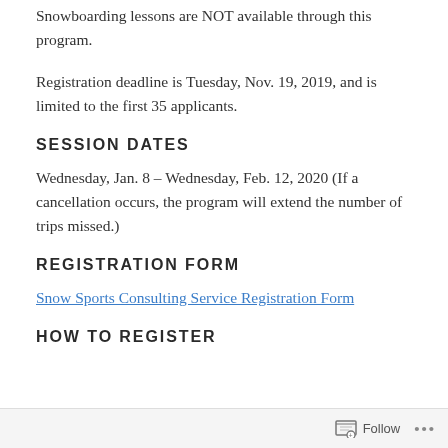Snowboarding lessons are NOT available through this program.
Registration deadline is Tuesday, Nov. 19, 2019, and is limited to the first 35 applicants.
SESSION DATES
Wednesday, Jan. 8 – Wednesday, Feb. 12, 2020 (If a cancellation occurs, the program will extend the number of trips missed.)
REGISTRATION FORM
Snow Sports Consulting Service Registration Form
HOW TO REGISTER
Follow